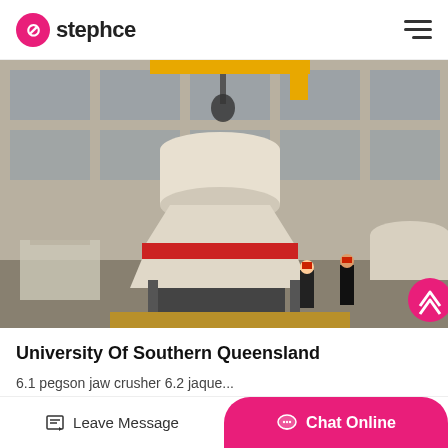stephce
[Figure (photo): Industrial factory interior showing a large cone crusher machine being assembled or lifted by a crane with workers nearby in a warehouse setting]
University Of Southern Queensland
6.1 pegson jaw crusher 6.2 jaque...